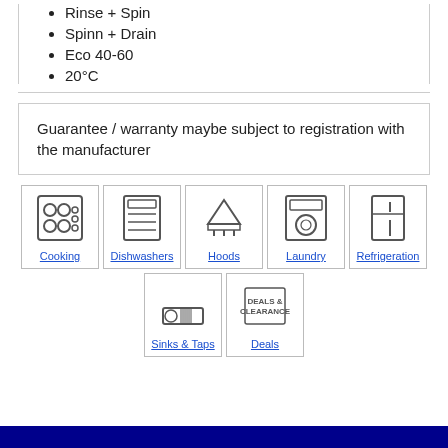Rinse + Spin
Spinn + Drain
Eco 40-60
20°C
Guarantee / warranty maybe subject to registration with the manufacturer
[Figure (infographic): Navigation icons grid: Cooking, Dishwashers, Hoods, Laundry, Refrigeration, Sinks & Taps, Deals]